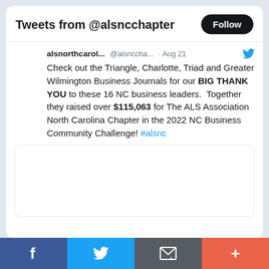Tweets from @alsncchapter
alsnorthcarol... @alsnccha... · Aug 21
Check out the Triangle, Charlotte, Triad and Greater Wilmington Business Journals for our BIG THANK YOU to these 16 NC business leaders.  Together they raised over $115,063 for The ALS Association North Carolina Chapter in the 2022 NC Business Community Challenge! #alsnc
[Figure (photo): Embedded tweet media image (blank/loading)]
Facebook | Twitter | Email | More